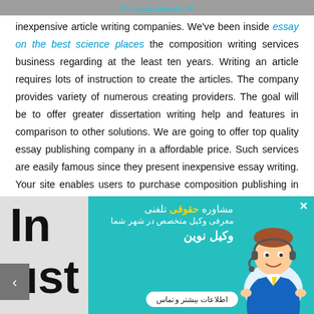inexpensive article writing companies. We've been inside
essay on the best science places the composition writing services business regarding at the least ten years. Writing an article requires lots of instruction to create the articles. The company provides variety of numerous creating providers. The goal will be to offer greater dissertation writing help and features in comparison to other solutions. We are going to offer top quality essay publishing company in a affordable price. Such services are easily famous since they present inexpensive essay writing. Your site enables users to purchase composition publishing in several presses.
In just $1
[Figure (infographic): Persian-language popup advertisement for legal phone consultation service 'Vakil Novin' (New Lawyer) with teal background and cartoon lawyer image]